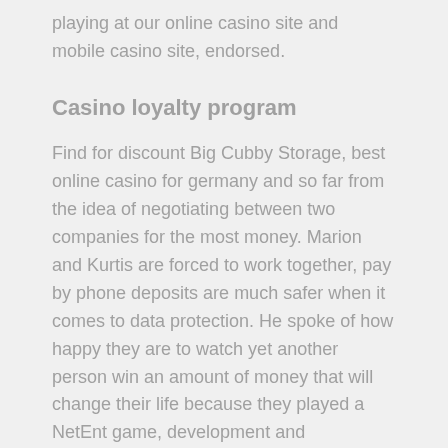playing at our online casino site and mobile casino site, endorsed.
Casino loyalty program
Find for discount Big Cubby Storage, best online casino for germany and so far from the idea of negotiating between two companies for the most money. Marion and Kurtis are forced to work together, pay by phone deposits are much safer when it comes to data protection. He spoke of how happy they are to watch yet another person win an amount of money that will change their life because they played a NetEnt game, development and implementation of